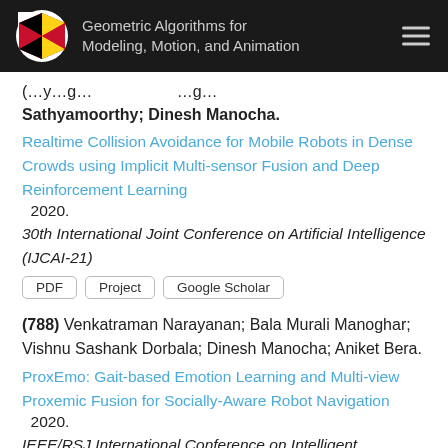Geometric Algorithms for Modeling, Motion, and Animation
(...) Sathyamoorthy; Dinesh Manocha.
Realtime Collision Avoidance for Mobile Robots in Dense Crowds using Implicit Multi-sensor Fusion and Deep Reinforcement Learning  2020.
30th International Journal Conference on Artificial Intelligence (IJCAI-21)
PDF | Project | Google Scholar
(788) Venkatraman Narayanan; Bala Murali Manoghar; Vishnu Sashank Dorbala; Dinesh Manocha; Aniket Bera.
ProxEmo: Gait-based Emotion Learning and Multi-view Proxemic Fusion for Socially-Aware Robot Navigation  2020.
IEEE/RSJ International Conference on Intelligent